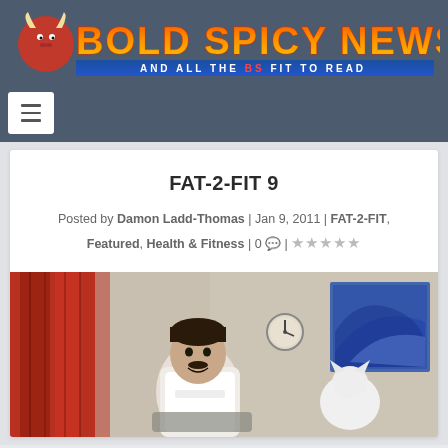[Figure (logo): Bold Spicy News logo with bull mascot and flame-style lettering, tagline 'AND ALL THE BS FIT TO READ']
[Figure (other): Hamburger/menu toggle button (three horizontal lines) on dark navy background navigation bar]
FAT-2-FIT 9
Posted by Damon Ladd-Thomas | Jan 9, 2011 | FAT-2-FIT, Featured, Health & Fitness | 0 💬 | ★★★★★
[Figure (photo): Photo of a man smiling indoors, red curtains in background, clock on wall, blue artwork on wall. Person appears to be holding or showing something.]